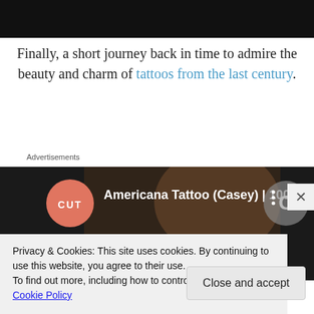[Figure (other): Black bar at top of page, video or image placeholder]
Finally, a short journey back in time to admire the beauty and charm of tattoos from the last century.
Advertisements
[Figure (screenshot): YouTube video thumbnail: Americana Tattoo (Casey) | 100 Ye... - CUT channel logo (salmon circle with CUT text), partial image of person, text '100 YEARS OF BEAUTY', YouTube controls icon]
Privacy & Cookies: This site uses cookies. By continuing to use this website, you agree to their use.
To find out more, including how to control cookies, see here: Cookie Policy